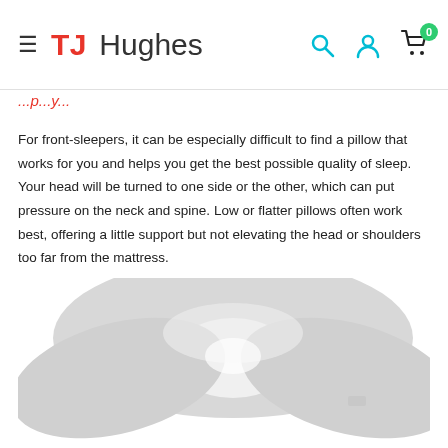TJ Hughes
For front-sleepers, it can be especially difficult to find a pillow that works for you and helps you get the best possible quality of sleep. Your head will be turned to one side or the other, which can put pressure on the neck and spine. Low or flatter pillows often work best, offering a little support but not elevating the head or shoulders too far from the mattress.
[Figure (photo): A grey/white V-shaped or curved pillow photographed on a white background, viewed from above/front, showing the soft fabric and stitching.]